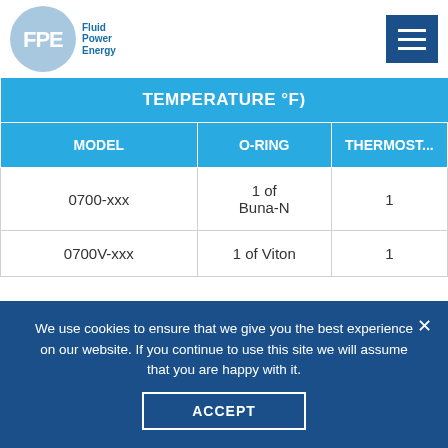[Figure (logo): FPE Fluid Power Energy logo — circular blue logo with FPE initials and hamburger menu icon on right]
| MODEL | O-RING | THERMOSTAT |
| --- | --- | --- |
| 0700-xxx | 1 of Buna-N | 1 |
| 0700V-xxx | 1 of Viton | 1 |
We use cookies to ensure that we give you the best experience on our website. If you continue to use this site we will assume that you are happy with it.
ACCEPT